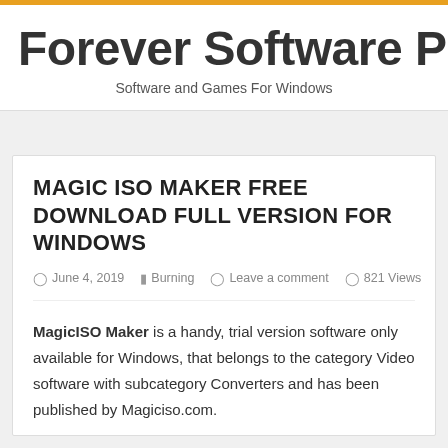Forever Software Pro
Software and Games For Windows
MAGIC ISO MAKER FREE DOWNLOAD FULL VERSION FOR WINDOWS
June 4, 2019   Burning   Leave a comment   821 Views
MagicISO Maker is a handy, trial version software only available for Windows, that belongs to the category Video software with subcategory Converters and has been published by Magiciso.com.